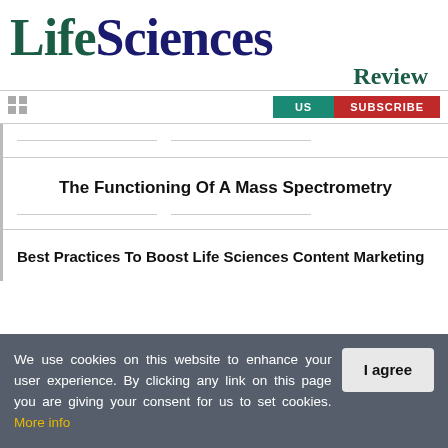Life Sciences Review
The Functioning Of A Mass Spectrometry
Best Practices To Boost Life Sciences Content Marketing
We use cookies on this website to enhance your user experience. By clicking any link on this page you are giving your consent for us to set cookies. More info